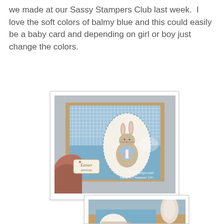we made at our Sassy Stampers Club last week.  I love the soft colors of balmy blue and this could easily be a baby card and depending on girl or boy just change the colors.
[Figure (photo): A hand holding a handmade Easter card featuring a bunny rabbit illustration on a blue gingham background with an oval frame, Easter greetings tag, and decorative ribbon. Watermark reads 'Wagstamps.com / Images © Stampin' UP!']
[Figure (photo): Cropped/partial view of a second handmade card showing blue background with oval frame and partial bunny/character illustration.]